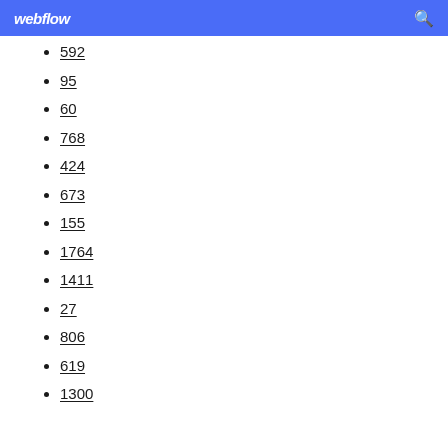webflow
592
95
60
768
424
673
155
1764
1411
27
806
619
1300